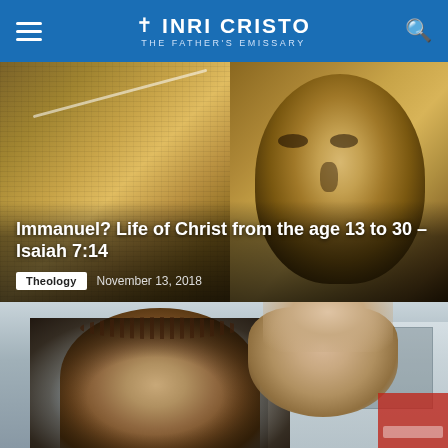INRI CRISTO – THE FATHER'S EMISSARY
[Figure (photo): Shroud of Turin-like image showing a faint face impression on aged linen cloth, split with a sepia-toned face portrait]
Immanuel? Life of Christ from the age 13 to 30 – Isaiah 7:14
Theology   November 13, 2018
[Figure (photo): Man wearing a crown of thorns with long dark hair and beard, hands raised in prayer pose, outdoors, with a red sign partially visible in background]